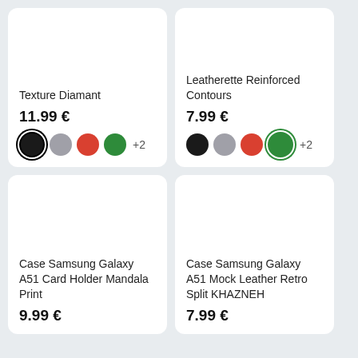Texture Diamant
11.99 €
Leatherette Reinforced Contours
7.99 €
Case Samsung Galaxy A51 Card Holder Mandala Print
9.99 €
Case Samsung Galaxy A51 Mock Leather Retro Split KHAZNEH
7.99 €